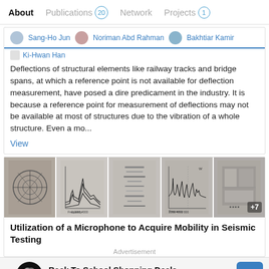About  Publications 20  Network  Projects 1
Sang-Ho Jun  Noriman Abd Rahman  Bakhtiar Kamir  Ki-Hwan Han
Deflections of structural elements like railway tracks and bridge spans, at which a reference point is not available for deflection measurement, have posed a dire predicament in the industry. It is because a reference point for measurement of deflections may not be available at most of structures due to the vibration of a whole structure. Even a mo...
View
[Figure (photo): Strip of 5 scientific images showing circular patterns, spectral frequency graphs, gel electrophoresis bands, and waveform plots. Last image has '+7' overlay.]
Utilization of a Microphone to Acquire Mobility in Seismic Testing
Advertisement
[Figure (infographic): Advertisement banner: Back To School Shopping Deals - Leesburg Premium Outlets, with infinity logo and blue arrow navigation icon.]